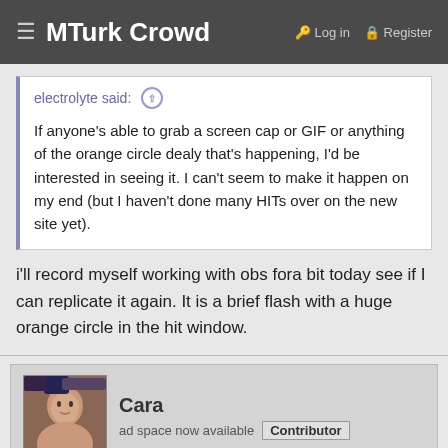MTurk Crowd  Log in  Register
electrolyte said: ↑ If anyone's able to grab a screen cap or GIF or anything of the orange circle dealy that's happening, I'd be interested in seeing it. I can't seem to make it happen on my end (but I haven't done many HITs over on the new site yet).
i'll record myself working with obs fora bit today see if I can replicate it again. It is a brief flash with a huge orange circle in the hit window.
Cara
ad space now available  Contributor
Dec 6, 2017  #13
crappy kindle recording!. but you can see it just flashes really quick. a proper screencast will do a better job. the circle is even